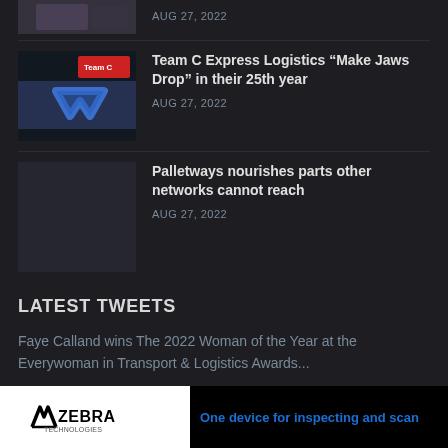[Figure (photo): Partial thumbnail of people at top of page (cropped)]
AUG 27, 2022
[Figure (photo): Thumbnail showing a Team C Express Logistics truck with the company logo]
Team C Express Logistics “Make Jaws Drop” in their 25th year
AUG 27, 2022
[Figure (photo): Dark placeholder thumbnail for Palletways article]
Palletways nourishes parts other networks cannot reach
AUG 27, 2022
LATEST TWEETS
Faye Calland wins The 2022 Woman of the Year at the Everywoman in Transport & Logistics Awards...
[Figure (logo): Zebra Technologies advertisement banner: Zebra logo on white background, with blue text 'One device for inspecting and scan' (partially visible)]